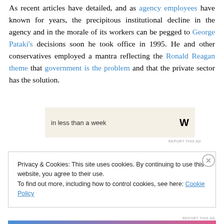As recent articles have detailed, and as agency employees have known for years, the precipitous institutional decline in the agency and in the morale of its workers can be pegged to George Pataki's decisions soon he took office in 1995. He and other conservatives employed a mantra reflecting the Ronald Reagan theme that government is the problem and that the private sector has the solution.
[Figure (other): Advertisement banner with text 'in less than a week' and a W logo on a beige background]
REPORT THIS AD
Privacy & Cookies: This site uses cookies. By continuing to use this website, you agree to their use.
To find out more, including how to control cookies, see here: Cookie Policy
Close and accept